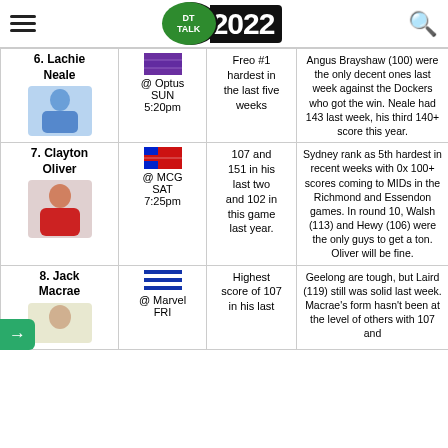DT TALK 2022
| Player | Venue | Form | Notes |
| --- | --- | --- | --- |
| 6. Lachie Neale | @ Optus SUN 5:20pm | Freo #1 hardest in the last five weeks | Angus Brayshaw (100) were the only decent ones last week against the Dockers who got the win. Neale had 143 last week, his third 140+ score this year. |
| 7. Clayton Oliver | @ MCG SAT 7:25pm | 107 and 151 in his last two and 102 in this game last year. | Sydney rank as 5th hardest in recent weeks with 0x 100+ scores coming to MIDs in the Richmond and Essendon games. In round 10, Walsh (113) and Hewy (106) were the only guys to get a ton. Oliver will be fine. |
| 8. Jack Macrae | @ Marvel FRI | Highest score of 107 in his last | Geelong are tough, but Laird (119) still was solid last week. Macrae's form hasn't been at the level of others with 107 and |